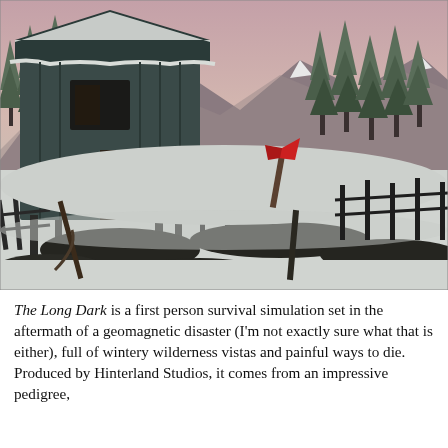[Figure (illustration): Screenshot from the video game The Long Dark: a stylized low-poly winter wilderness scene showing a snow-covered wooden barn/cabin on the left, dark exposed rocks cutting through deep snow, wooden fence posts, a red axe stuck in the snow, tall snow-laden pine/fir trees in the background, and pinkish-orange sky. The color palette is muted teals, greys, whites and blacks with the red axe as a focal accent.]
The Long Dark is a first person survival simulation set in the aftermath of a geomagnetic disaster (I'm not exactly sure what that is either), full of wintery wilderness vistas and painful ways to die. Produced by Hinterland Studios, it comes from an impressive pedigree,